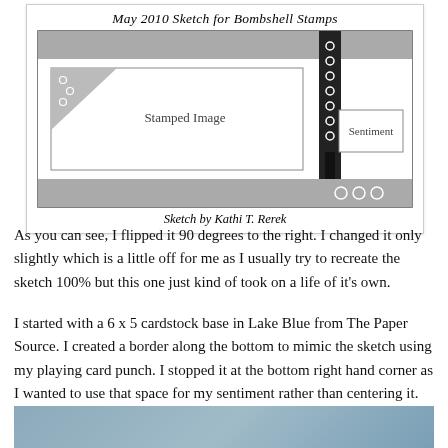[Figure (illustration): Card sketch diagram titled 'May 2010 Sketch for Bombshell Stamps'. Shows a card layout with a gray top band, a white main area with a triangular corner decoration and a 'Stamped Image' label, a vertical dotted ribbon on the right, a 'Sentiment' tag, and a gray bottom band with three circles. Credit reads 'Sketch by Kathi T. Rerek'.]
As you can see, I flipped it 90 degrees to the right. I changed it only slightly which is a little off for me as I usually try to recreate the sketch 100% but this one just kind of took on a life of it's own.
I started with a 6 x 5 cardstock base in Lake Blue from The Paper Source. I created a border along the bottom to mimic the sketch using my playing card punch. I stopped it at the bottom right hand corner as I wanted to use that space for my sentiment rather than centering it.
[Figure (photo): Partial photo visible at bottom of page, appears to show a crafted card in blue tones.]